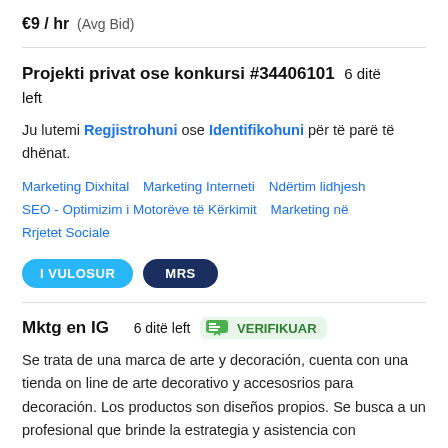€9 / hr  (Avg Bid)
Projekti privat ose konkursi #34406101  6 ditë left
Ju lutemi Regjistrohuni ose Identifikohuni për të parë të dhënat.
Marketing Dixhital
Marketing Interneti
Ndërtim lidhjesh
SEO - Optimizim i Motorëve të Kërkimit
Marketing në Rrjetet Sociale
I VULOSUR   MRS
Mktg en IG  6 ditë left  VERIFIKUAR
Se trata de una marca de arte y decoración, cuenta con una tienda on line de arte decorativo y accesosrios para decoración. Los productos son diseños propios. Se busca a un profesional que brinde la estrategia y asistencia con